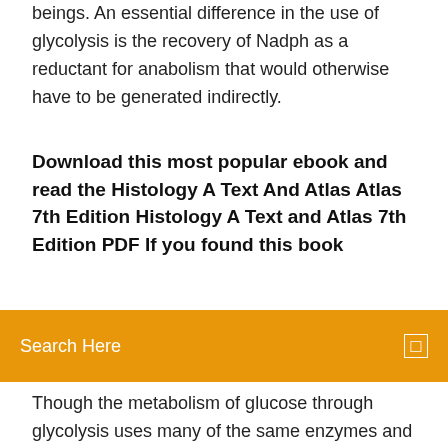beings. An essential difference in the use of glycolysis is the recovery of Nadph as a reductant for anabolism that would otherwise have to be generated indirectly.
Download this most popular ebook and read the Histology A Text And Atlas Atlas 7th Edition Histology A Text and Atlas 7th Edition PDF If you found this book
Search Here
Though the metabolism of glucose through glycolysis uses many of the same enzymes and intermediate structures as those in fructolysis, the two sugars have very different metabolic fates in human metabolism. He is best known for his research in food chemistry. He discovered arabinogalactan and used it to create instant mashed potatoes. The following 131 pages are in this category, out of 131 total. This list may not reflect recent changes (learn more). Tungsten's hardness and high density give it military applications in penetrating